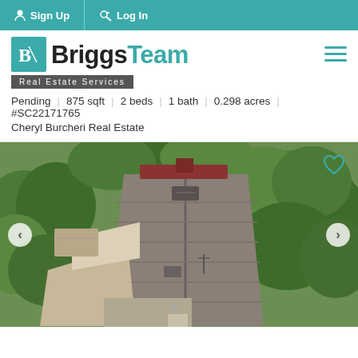Sign Up | Log In
[Figure (logo): BriggsTeam Real Estate Services logo with teal icon]
Pending | 875 sqft | 2 beds | 1 bath | 0.298 acres | #SC22171765
Cheryl Burcheri Real Estate
[Figure (photo): Aerial drone photo of a house rooftop surrounded by trees and driveway]